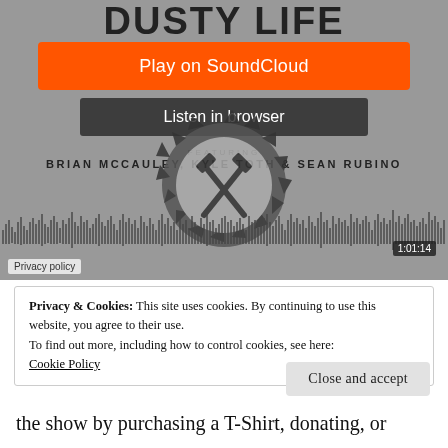[Figure (screenshot): SoundCloud embed player for 'Dusty Life' podcast featuring Brian McCauley, Kyle Toth & Sean Rubino. Shows orange 'Play on SoundCloud' button, dark 'Listen in browser' button, podcast artwork with saw blade and crossed hammers, waveform display showing 1:01:14 duration, and Privacy policy link.]
Privacy & Cookies: This site uses cookies. By continuing to use this website, you agree to their use.
To find out more, including how to control cookies, see here:
Cookie Policy
Close and accept
the show by purchasing a T-Shirt, donating, or